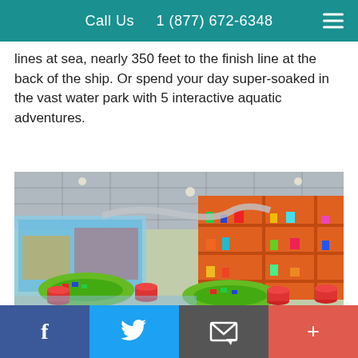Call Us    1 (877) 672-6348
lines at sea, nearly 350 feet to the finish line at the back of the ship. Or spend your day super-soaked in the vast water park with 5 interactive aquatic adventures.
[Figure (photo): Interior of a colorful children's play area on a cruise ship, featuring green oval play tables, red cylindrical stools, illuminated orange shelving units stocked with colorful toys, a mural of cartoon characters on the far wall, and a blue floor.]
f  [twitter bird]  [email icon]  +